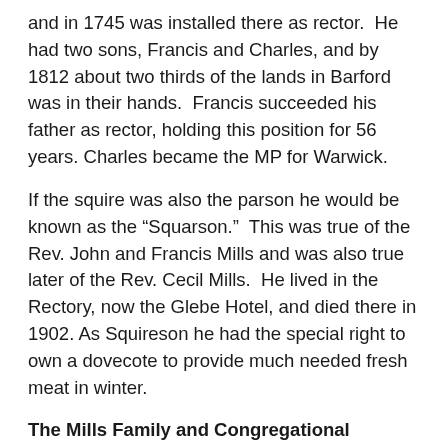and in 1745 was installed there as rector.  He had two sons, Francis and Charles, and by 1812 about two thirds of the lands in Barford was in their hands.  Francis succeeded his father as rector, holding this position for 56 years. Charles became the MP for Warwick.
If the squire was also the parson he would be known as the “Squarson.”  This was true of the Rev. John and Francis Mills and was also true later of the Rev. Cecil Mills.  He lived in the Rectory, now the Glebe Hotel, and died there in 1902. As Squireson he had the special right to own a dovecote to provide much needed fresh meat in winter.
The Mills Family and Congregational Singing in Wales.
Henry Mills was a pioneer in Welsh congregational singing. As a young man he...